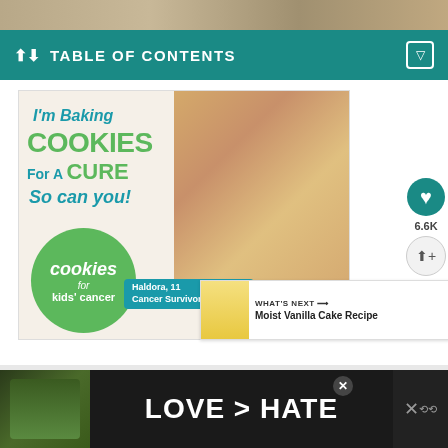[Figure (photo): Top photo strip, partially visible]
TABLE OF CONTENTS
[Figure (photo): Advertisement: I'm Baking COOKIES For A CURE So can you! - Cookies for Kids' Cancer, featuring Haldora, 11 Cancer Survivor]
[Figure (photo): What's Next: Moist Vanilla Cake Recipe thumbnail]
[Figure (photo): Bottom banner ad: LOVE > HATE]
6.6K